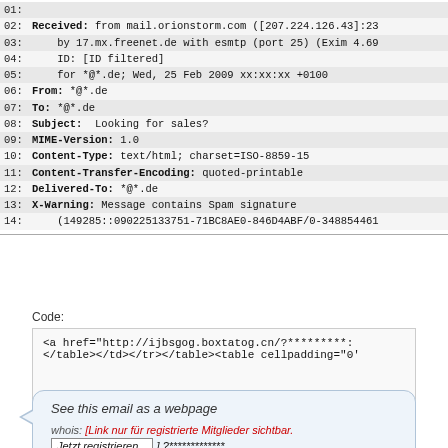Email header lines 01-14 showing Received, From, To, Subject, MIME-Version, Content-Type, Content-Transfer-Encoding, Delivered-To, X-Warning fields
Code: <a href="http://ijbsgog.boxtatog.cn/?*********" </table></td></tr></table><table cellpadding="0'
See this email as a webpage
whois: [Link nur für registrierte Mitglieder sichtbar. Jetzt registrieren... ] ?*************